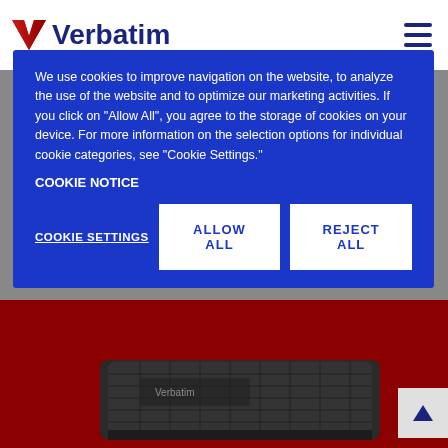Verbatim
We use cookies to improve navigation on the website, to analyze the use of the website and to optimize our marketing activities. If you click on "Allow All", you agree to the storage of cookies on your device. For more information on the selection options for individual cookie categories, see "Cookie Settings." COOKIE NOTICE
COOKIE SETTINGS | ALLOW ALL | REJECT ALL
[Figure (photo): Verbatim external hard drive product shown on dark red background, bottom portion of page]